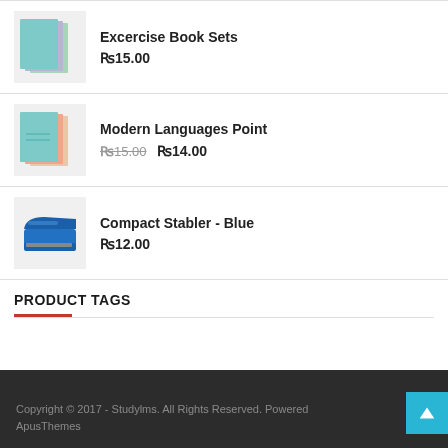[Figure (photo): Exercise book sets - stacked notebooks in teal, purple, green]
Excercise Book Sets
₨15.00
[Figure (photo): Modern Languages Point - notebooks in teal, pink/coral, tan]
Modern Languages Point
₨15.00 ₨14.00
[Figure (photo): Compact Stabler - Blue stapler]
Compact Stabler - Blue
₨12.00
PRODUCT TAGS
Copyright © 2017 - Studylms. All Rights Reserved. Powered ApusThemes